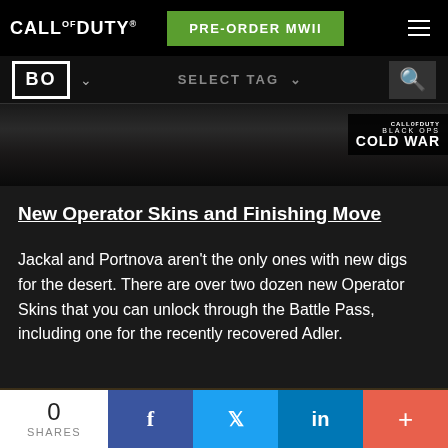CALL OF DUTY® | PRE-ORDER MWII | BO SELECT TAG
[Figure (screenshot): Dark screenshot from Call of Duty: Black Ops Cold War with CALL OF DUTY BLACK OPS COLD WAR logo badge in upper right corner]
New Operator Skins and Finishing Move
Jackal and Portnova aren't the only ones with new digs for the desert. There are over two dozen new Operator Skins that you can unlock through the Battle Pass, including one for the recently recovered Adler.
[Figure (photo): Partial bottom image showing a soldier with helmet in desert environment]
0 SHARES | Facebook | Twitter | LinkedIn | +